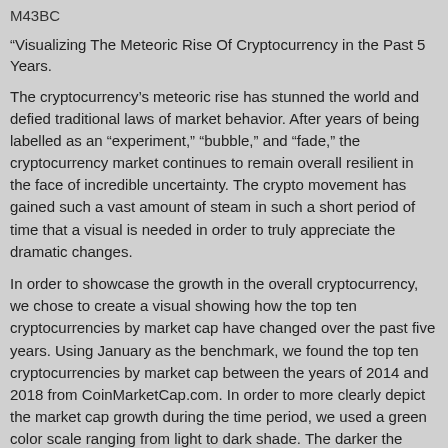M43BC
“Visualizing The Meteoric Rise Of Cryptocurrency in the Past 5 Years.
The cryptocurrency’s meteoric rise has stunned the world and defied traditional laws of market behavior. After years of being labelled as an “experiment,” “bubble,” and “fade,” the cryptocurrency market continues to remain overall resilient in the face of incredible uncertainty. The crypto movement has gained such a vast amount of steam in such a short period of time that a visual is needed in order to truly appreciate the dramatic changes.
In order to showcase the growth in the overall cryptocurrency, we chose to create a visual showing how the top ten cryptocurrencies by market cap have changed over the past five years. Using January as the benchmark, we found the top ten cryptocurrencies by market cap between the years of 2014 and 2018 from CoinMarketCap.com. In order to more clearly depict the market cap growth during the time period, we used a green color scale ranging from light to dark shade. The darker the green background on each square, the larger the market capitalization. Conversely, lighter shades represent smaller market caps.
Bitcoin Still Top Dog, But Market Cap Dominance In Downtrend
The “grandfather of cryptocurrency,” Bitcoin, has single-handed brought the crypto market to where it is today. Without Bitcoin, there would be no